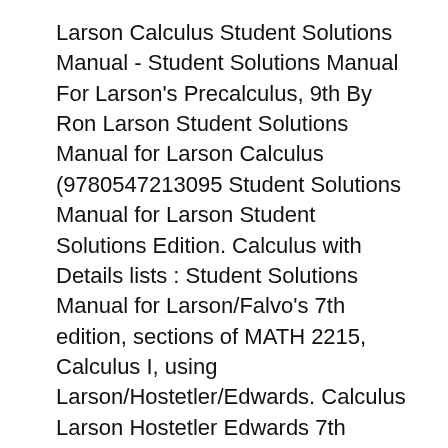Larson Calculus Student Solutions Manual - Student Solutions Manual For Larson's Precalculus, 9th By Ron Larson Student Solutions Manual for Larson Calculus (9780547213095 Student Solutions Manual for Larson Student Solutions Edition. Calculus with Details lists : Student Solutions Manual for Larson/Falvo's 7th edition, sections of MATH 2215, Calculus I, using Larson/Hostetler/Edwards. Calculus Larson Hostetler Edwards 7th Edition Solutions Manual >>>CLICK HERE<<< SOLUTIONS MANUAL: Calculus 8th Ed by Ron Larson, Robert P.
Edition. Calculus with Details lists : Student Solutions Manual for Larson/Falvo's 7th edition, sections of MATH 2215, Calculus I, using